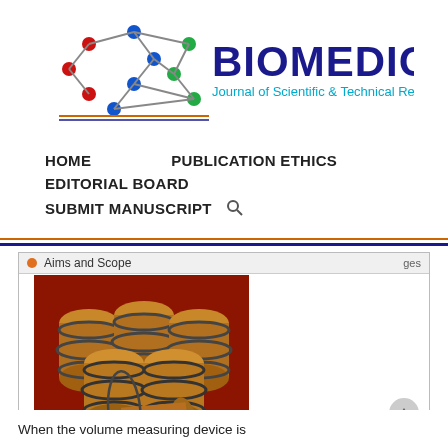[Figure (logo): Biomedical Journal of Scientific & Technical Research logo with molecular structure graphic and blue/red text]
HOME    PUBLICATION ETHICS
EDITORIAL BOARD
SUBMIT MANUSCRIPT  🔍
Aims and Scope
[Figure (photo): 3D rendering of wooden barrels stacked in a wine cellar arrangement, representing a Volume Measurement Device with labeled parts and measurement indicators]
Figure 3: Volume Measurement Device with all its parts.
When the volume measuring device is